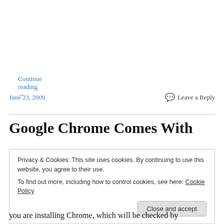Continue reading →
June 23, 2009
Leave a Reply
Google Chrome Comes With
Privacy & Cookies: This site uses cookies. By continuing to use this website, you agree to their use.
To find out more, including how to control cookies, see here: Cookie Policy
Close and accept
you are installing Chrome, which will be checked by